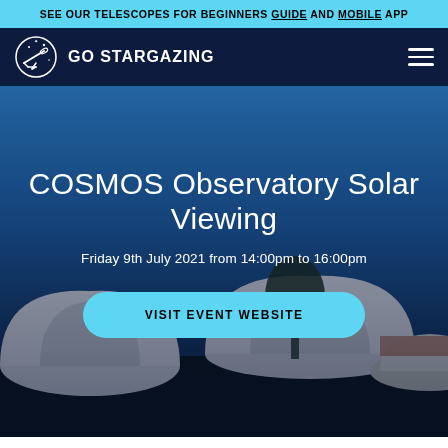SEE OUR TELESCOPES FOR BEGINNERS GUIDE AND MOBILE APP
[Figure (logo): Go Stargazing logo: circular telescope icon with stars, white on dark navy background, with text GO STARGAZING]
[Figure (photo): Hero image of COSMOS Observatory showing white dome structures at dusk/night with blue sky, overlaid with event information]
COSMOS Observatory Solar Viewing
Friday 9th July 2021 from 14:00pm to 16:00pm
VISIT EVENT WEBSITE